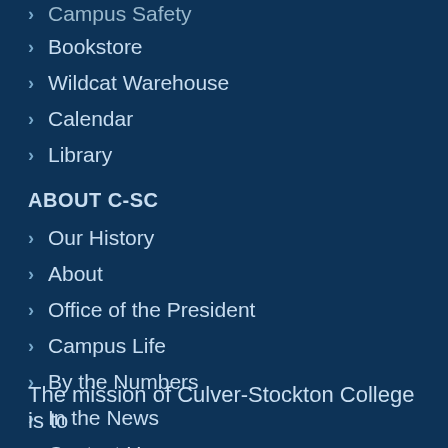Campus Safety
Bookstore
Wildcat Warehouse
Calendar
Library
ABOUT C-SC
Our History
About
Office of the President
Campus Life
By the Numbers
In the News
Contact Us
The mission of Culver-Stockton College is to